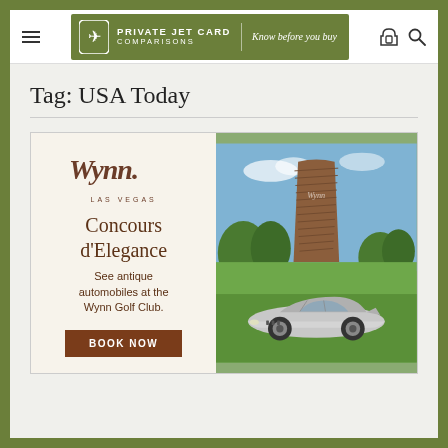Private Jet Card Comparisons | Know before you buy
Tag: USA Today
[Figure (illustration): Wynn Las Vegas Concours d'Elegance advertisement showing the Wynn hotel building and a classic antique silver Mercedes-Benz car on a green lawn. Left panel has cream background with Wynn cursive logo, 'Concours d'Elegance', text 'See antique automobiles at the Wynn Golf Club.' and a dark brown 'BOOK NOW' button. Right panel shows a photo-illustration of the Wynn hotel tower and the classic car.]